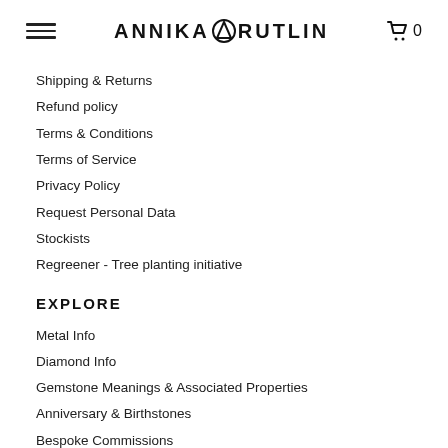ANNIKA RUTLIN  🛒 0
Shipping & Returns
Refund policy
Terms & Conditions
Terms of Service
Privacy Policy
Request Personal Data
Stockists
Regreener - Tree planting initiative
EXPLORE
Metal Info
Diamond Info
Gemstone Meanings & Associated Properties
Anniversary & Birthstones
Bespoke Commissions
Repairs & Reconditioning
Ring Sizing